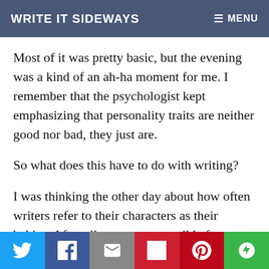WRITE IT SIDEWAYS   ≡ MENU
Most of it was pretty basic, but the evening was a kind of an ah-ha moment for me. I remember that the psychologist kept emphasizing that personality traits are neither good nor bad, they just are.
So what does this have to do with writing?
I was thinking the other day about how often writers refer to their characters as their babies. After all, we are responsible for bringing them to life. So it stands to reason that the same